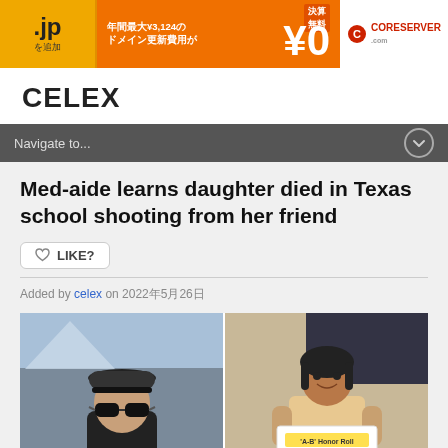[Figure (other): Advertisement banner: .jp domain promotion with text 年間最大¥3,124の ドメイン更新費用が ¥0, and CORESERVER logo on right]
CELEX
Navigate to...
Med-aide learns daughter died in Texas school shooting from her friend
LIKE?
Added by celex on 2022年5月26日
[Figure (photo): Two-panel photo: left panel shows a man wearing a backwards black cap and sunglasses outdoors; right panel shows a young girl smiling and holding an 'A-B Honor Roll' certificate]